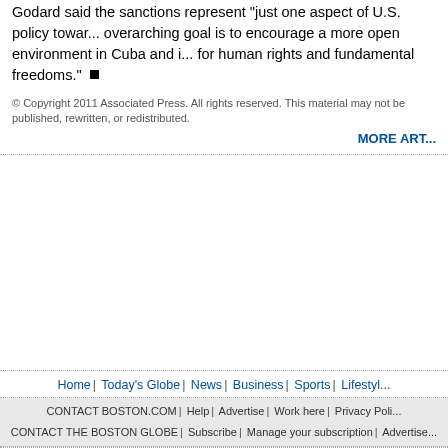Godard said the sanctions represent "just one aspect of U.S. policy towar... overarching goal is to encourage a more open environment in Cuba and i... for human rights and fundamental freedoms."
© Copyright 2011 Associated Press. All rights reserved. This material may not be published, rewritten, or redistributed.
MORE ART...
Home | Today's Globe | News | Business | Sports | Lifestyl...
CONTACT BOSTON.COM | Help | Advertise | Work here | Privacy Poli... CONTACT THE BOSTON GLOBE | Subscribe | Manage your subscription | Advertise...